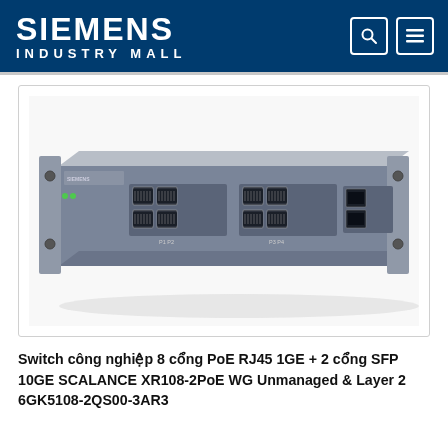SIEMENS INDUSTRY MALL
[Figure (photo): Siemens SCALANCE XR108-2PoE WG industrial network switch — 1U rack-mount unit, gray/silver chassis, front panel showing 8x RJ45 PoE ports and 2x SFP ports]
Switch công nghiệp 8 cổng PoE RJ45 1GE + 2 cổng SFP 10GE SCALANCE XR108-2PoE WG Unmanaged & Layer 2 6GK5108-2QS00-3AR3